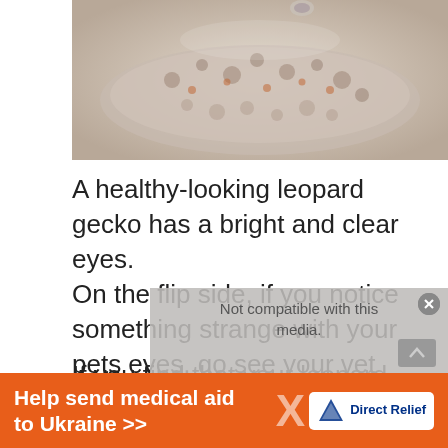[Figure (photo): Close-up photo of a leopard gecko, showing its distinctive spotted/patterned skin texture, partially cropped at the top of the page.]
A healthy-looking leopard gecko has a bright and clear eyes.
On the flip side, if you notice something strange with your pets eyes, go see your vet as soon as possible.
If you find that your leopard gecko's eyes are sunken into their face, this shows that they are dehydrated. Dehydration is usually the cause of underlying health problems in
[Figure (screenshot): Advertisement overlay: semi-transparent gray box with close button (x), text 'Not compatible with this media.' and orange banner ad reading 'Help send medical aid to Ukraine >>' with Direct Relief logo.]